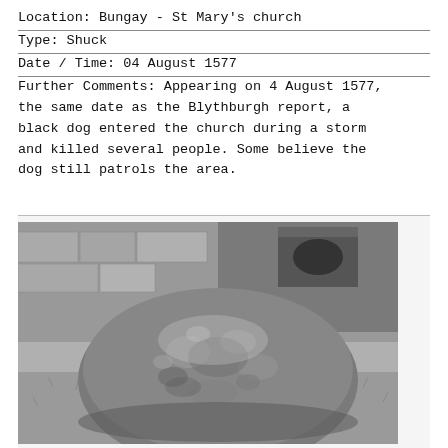Location: Bungay - St Mary's church
Type: Shuck
Date / Time: 04 August 1577
Further Comments: Appearing on 4 August 1577, the same date as the Blythburgh report, a black dog entered the church during a storm and killed several people. Some believe the dog still patrols the area.
[Figure (photo): Black and white photograph of a large rounded mossy stone sitting on grass in a churchyard, with stone walls and architectural elements visible in the background.]